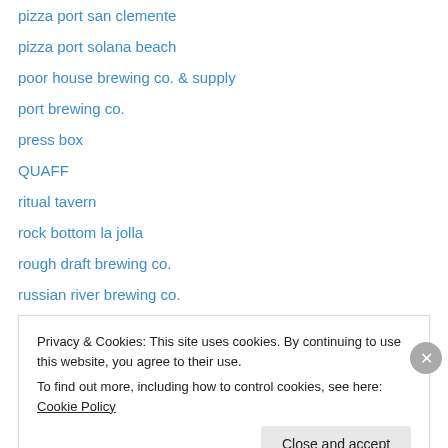pizza port san clemente
pizza port solana beach
poor house brewing co. & supply
port brewing co.
press box
QUAFF
ritual tavern
rock bottom la jolla
rough draft brewing co.
russian river brewing co.
san diego beer week
san diego brewed
san diego brewer's guild
san diego brewing co.
Privacy & Cookies: This site uses cookies. By continuing to use this website, you agree to their use.
To find out more, including how to control cookies, see here: Cookie Policy
Close and accept